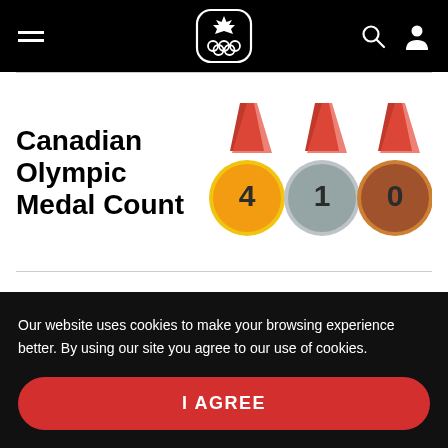Canadian Olympic Committee website header with hamburger menu, maple leaf Olympic logo, search icon, and user icon
Canadian Olympic Medal Count
[Figure (infographic): Three Olympic medals (gold, silver, bronze) with red ribbons showing counts: Gold=4, Silver=1, Bronze=0]
Our website uses cookies to make your browsing experience better. By using our site you agree to our use of cookies.
I AGREE